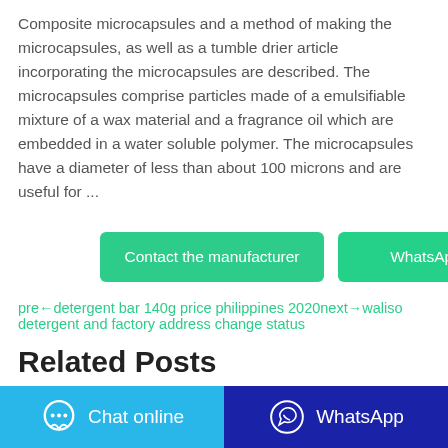Composite microcapsules and a method of making the microcapsules, as well as a tumble drier article incorporating the microcapsules are described. The microcapsules comprise particles made of a emulsifiable mixture of a wax material and a fragrance oil which are embedded in a water soluble polymer. The microcapsules have a diameter of less than about 100 microns and are useful for ...
[Figure (other): Two buttons: 'Contact the manufacturer' (green) and 'WhatsApp' (green)]
pre←detergent bar 140g price philippines 2020next→waliso detergent and factory address change status
Related Posts
(partial text cut off at bottom)
Chat online   WhatsApp